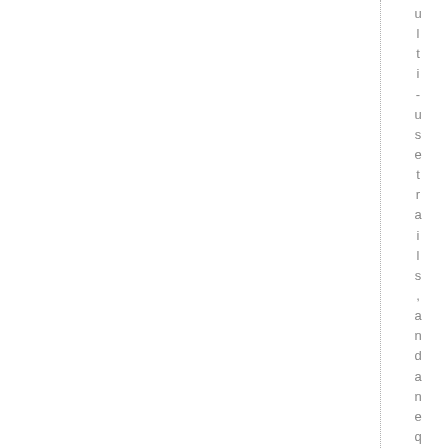ulti-usetrails,andanequestrian